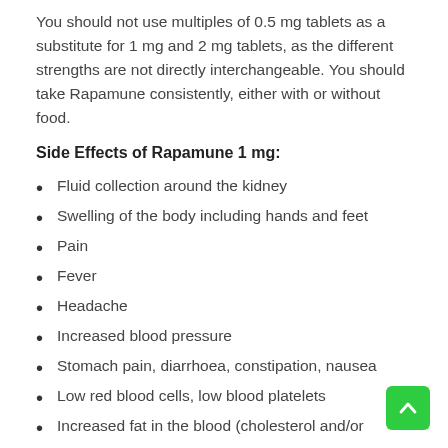You should not use multiples of 0.5 mg tablets as a substitute for 1 mg and 2 mg tablets, as the different strengths are not directly interchangeable. You should take Rapamune consistently, either with or without food.
Side Effects of Rapamune 1 mg:
Fluid collection around the kidney
Swelling of the body including hands and feet
Pain
Fever
Headache
Increased blood pressure
Stomach pain, diarrhoea, constipation, nausea
Low red blood cells, low blood platelets
Increased fat in the blood (cholesterol and/or